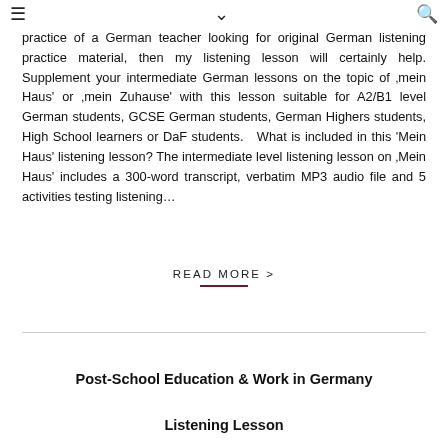≡  ∨  🔍
practice of a German teacher looking for original German listening practice material, then my listening lesson will certainly help. Supplement your intermediate German lessons on the topic of ‚mein Haus' or ‚mein Zuhause' with this lesson suitable for A2/B1 level German students, GCSE German students, German Highers students, High School learners or DaF students.   What is included in this 'Mein Haus' listening lesson? The intermediate level listening lesson on ‚Mein Haus' includes a 300-word transcript, verbatim MP3 audio file and 5 activities testing listening…
READ MORE >
Post-School Education & Work in Germany
Listening Lesson